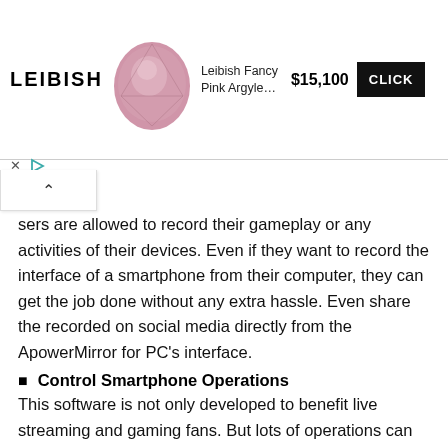[Figure (other): Advertisement banner for Leibish featuring a pink Argyle diamond gem, price $15,100 and a CLICK button]
sers are allowed to record their gameplay or any activities of their devices. Even if they want to record the interface of a smartphone from their computer, they can get the job done without any extra hassle. Even share the recorded on social media directly from the ApowerMirror for PC's interface.
Control Smartphone Operations
This software is not only developed to benefit live streaming and gaming fans. But lots of operations can be done while using this product's services. For instance, now you can text and chat with your friends with ease through a physical keyboard. It's quite impressive that now you get your smartphone notifications on your computer.